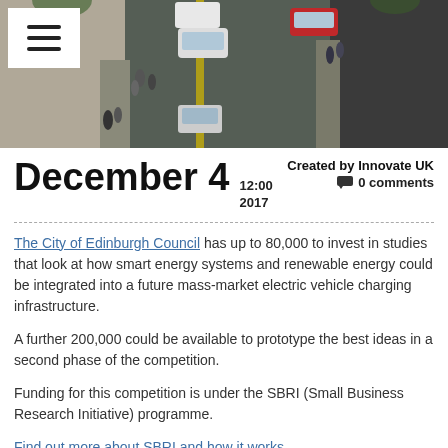[Figure (photo): Aerial/overhead view of a street with cars, people, and buildings visible. A hamburger menu icon appears in the top-left corner over a white box.]
December 4  12:00 2017   Created by Innovate UK  0 comments
The City of Edinburgh Council has up to 80,000 to invest in studies that look at how smart energy systems and renewable energy could be integrated into a future mass-market electric vehicle charging infrastructure.
A further 200,000 could be available to prototype the best ideas in a second phase of the competition.
Funding for this competition is under the SBRI (Small Business Research Initiative) programme.
Find out more about SBRI and how it works.
CREATING AN INTEGRATED CHARGING INFRASTRUCTURE